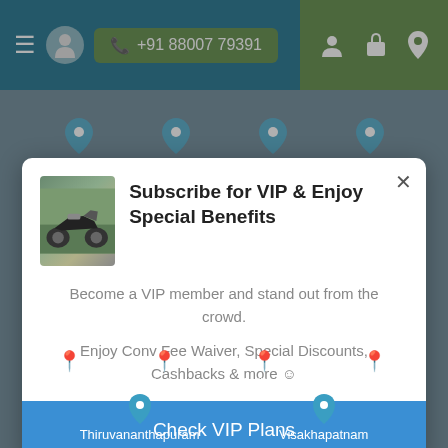[Figure (screenshot): Mobile website navigation bar with hamburger menu, location icon, phone number +91 88007 79391, and icons for user, cart, and location pin on teal/green background]
[Figure (screenshot): Background showing city location pins for Ajmer, Leh, Shillong, Mysore, Thiruvananthapuram, Visakhapatnam on a muted blue-grey website background]
[Figure (screenshot): Modal popup dialog: Subscribe for VIP & Enjoy Special Benefits. Shows motorcycle photo, descriptive text, and Check VIP Plans button.]
Subscribe for VIP & Enjoy Special Benefits
Become a VIP member and stand out from the crowd.
Enjoy Conv Fee Waiver, Special Discounts, Cashbacks & more ☺